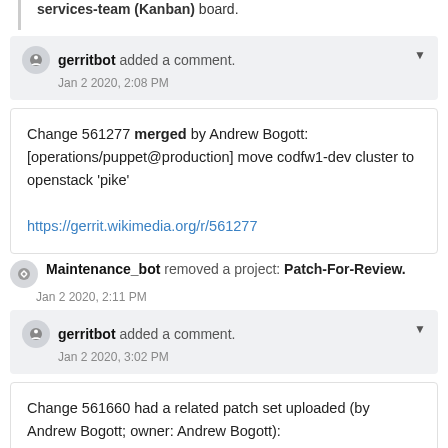... delivered moved this task from Inbox to Doing on the cloud services-team (Kanban) board.
gerritbot added a comment. Jan 2 2020, 2:08 PM
Change 561277 merged by Andrew Bogott: [operations/puppet@production] move codfw1-dev cluster to openstack 'pike'

https://gerrit.wikimedia.org/r/561277
Maintenance_bot removed a project: Patch-For-Review. Jan 2 2020, 2:11 PM
gerritbot added a comment. Jan 2 2020, 3:02 PM
Change 561660 had a related patch set uploaded (by Andrew Bogott; owner: Andrew Bogott): [operations/puppet@production] neutron: update l3_agent_hacks for Pike